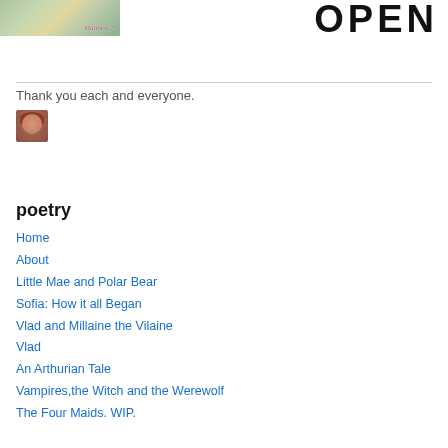[Figure (photo): Book cover image for Matthew 7, showing a nature scene with a person, alongside large bold text reading OPEN]
Thank you each and everyone.
[Figure (photo): Small avatar/profile photo of a red-haired woman]
poetry
Home
About
Little Mae and Polar Bear
Sofia: How it all Began
Vlad and Millaine the Vilaine
Vlad
An Arthurian Tale
Vampires,the Witch and the Werewolf
The Four Maids. WIP.